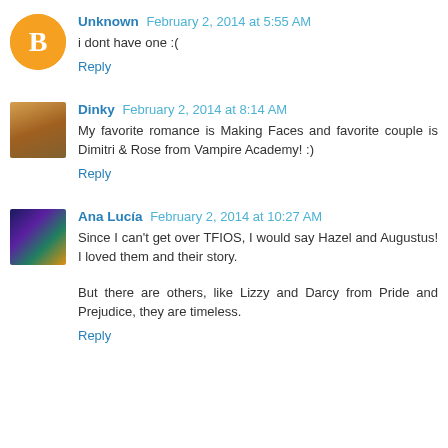Unknown February 2, 2014 at 5:55 AM
i dont have one :(
Reply
Dinky February 2, 2014 at 8:14 AM
My favorite romance is Making Faces and favorite couple is Dimitri & Rose from Vampire Academy! :)
Reply
Ana Lucía February 2, 2014 at 10:27 AM
Since I can't get over TFIOS, I would say Hazel and Augustus! I loved them and their story.
But there are others, like Lizzy and Darcy from Pride and Prejudice, they are timeless.
Reply